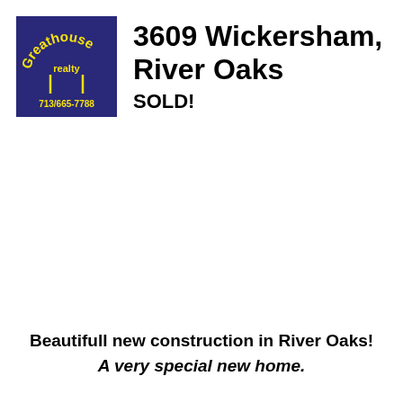[Figure (logo): Greathouse Realty logo: navy/dark blue square with yellow arch text 'Greathouse' at top, 'realty' below, two vertical lines in middle, and '713/665-7788' at the bottom in yellow text]
3609 Wickersham, River Oaks
SOLD!
Beautifull new construction in River Oaks!
A very special new home.